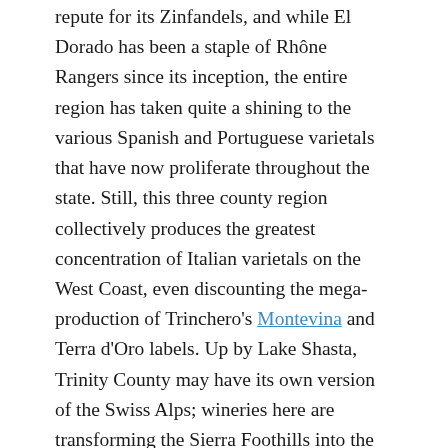repute for its Zinfandels, and while El Dorado has been a staple of Rhône Rangers since its inception, the entire region has taken quite a shining to the various Spanish and Portuguese varietals that have now proliferate throughout the state. Still, this three county region collectively produces the greatest concentration of Italian varietals on the West Coast, even discounting the mega-production of Trinchero's Montevina and Terra d'Oro labels. Up by Lake Shasta, Trinity County may have its own version of the Swiss Alps; wineries here are transforming the Sierra Foothills into the western Apennines.
One of the first wineries I encountered this afternoon was Amador's Driven Cellars. An intimate operation that produces six varietals in lots of 200-300 cases, they excelled with a 2007 Barbera and a 2007 Primitivo. At the next table,